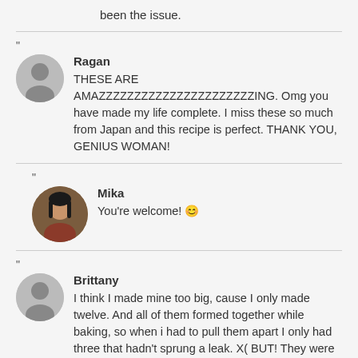been the issue.
Ragan
THESE ARE AMAZZZZZZZZZZZZZZZZZZZZZZING. Omg you have made my life complete. I miss these so much from Japan and this recipe is perfect. THANK YOU, GENIUS WOMAN!
Mika
You're welcome! 😀
Brittany
I think I made mine too big, cause I only made twelve. And all of them formed together while baking, so when i had to pull them apart I only had three that hadn't sprung a leak. X( BUT! They were still delicious, me and my sister love them. (Only she tried them cause I started it too late and everybody else is in bed now....)